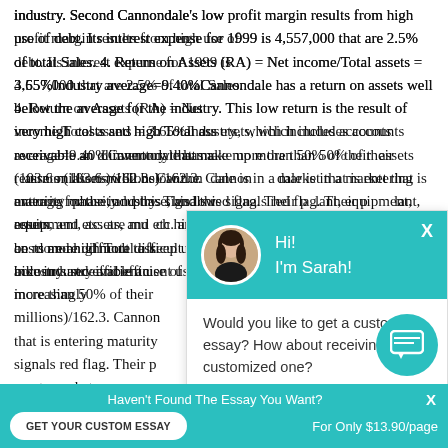industry. Second Cannondale's low profit margin results from high use of debt. Its interest expense for 1999 is 4,557,000 that are 2.5% of total Sales. 4. Return on Assets (RA) = Net income/Total assets = 3.65%Industry average=9.40%Cannondale has a return on assets well below the average for the industry. This low return is the result of very high costs and high Total assets, which includes accounts receivable and inventory that make up more than 50% of their assets (103.6 millions)/162.3. Cannondale is in a market that is entering maturity phase, and this signals red flag. Their plant, equipment, assets, and etc. are much higher than their rivals. It will be more and more difficult to keep up with new innovation in the bike industry and efficient use of assets will be becoming increasingly
[Figure (other): Chat widget popup with avatar of Sarah, teal header, message asking about custom essay, and 'Check it out' link]
[Figure (other): Teal circular chat icon button at bottom right]
Haven't Found The Essay You Want?
GET YOUR CUSTOM ESSAY   For Only $13.90/page